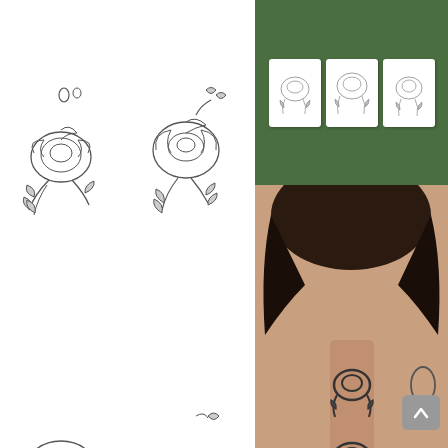[Figure (photo): Four flower/floral sketch tattoo designs in black and white line art on white background, arranged in a 2x2 grid on the left side of the page]
[Figure (photo): Right column: top shows three small white cards with floral tattoo designs on a green grass background; bottom shows a woman's back with large floral temporary tattoos applied along the spine]
♥ Check price on Amazon
Tattify is quite an interesting name. Anyway, that is not why it is in the review of best washable tattoo. Certain features make it the number one product in